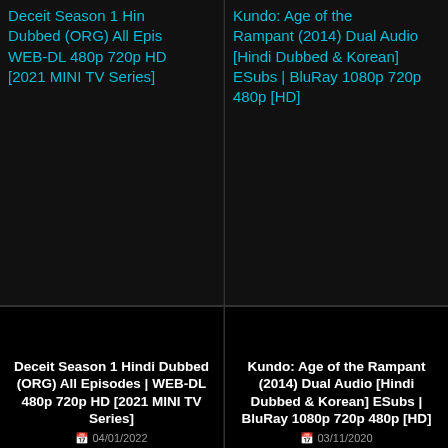Deceit Season 1 Hindi Dubbed (ORG) All Epis WEB-DL 480p 720p HD [2021 MINI TV Series]
Kundo: Age of the Rampant (2014) Dual Audio [Hindi Dubbed & Korean] ESubs | BluRay 1080p 720p 480p [HD]
Deceit Season 1 Hindi Dubbed (ORG) All Episodes | WEB-DL 480p 720p HD [2021 MINI TV Series]
04/01/2022
Kundo: Age of the Rampant (2014) Dual Audio [Hindi Dubbed & Korean] ESubs | BluRay 1080p 720p 480p [HD]
03/11/2020